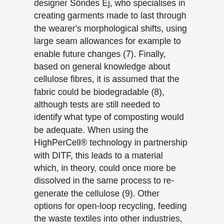designer Söndes Ej, who specialises in creating garments made to last through the wearer's morphological shifts, using large seam allowances for example to enable future changes (7). Finally, based on general knowledge about cellulose fibres, it is assumed that the fabric could be biodegradable (8), although tests are still needed to identify what type of composting would be adequate. When using the HighPerCell® technology in partnership with DITF, this leads to a material which, in theory, could once more be dissolved in the same process to re-generate the cellulose (9). Other options for open-loop recycling, feeding the waste textiles into other industries, such as paper in this case, could be envisaged. Finally it must be noted that most materials can be incinerated for energy recovery.
Iroony® is an example of a material that is made from locally available waste biomass, in an attempt to recover as much value from the resource as possible. It can offer different routes to closed or open-loop recycling, depending on the fibre production process and the type of blending